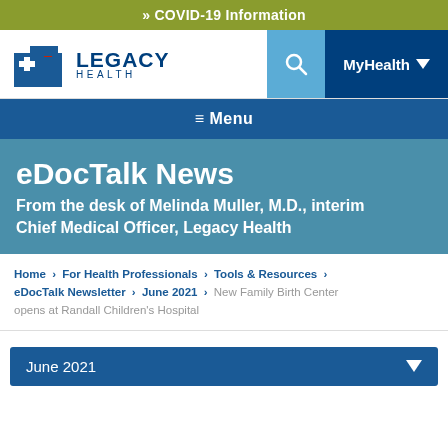» COVID-19 Information
[Figure (logo): Legacy Health logo with blue building icon and red square accent, with text LEGACY HEALTH]
≡ Menu
eDocTalk News
From the desk of Melinda Muller, M.D., interim Chief Medical Officer, Legacy Health
Home > For Health Professionals > Tools & Resources > eDocTalk Newsletter > June 2021 > New Family Birth Center opens at Randall Children's Hospital
June 2021